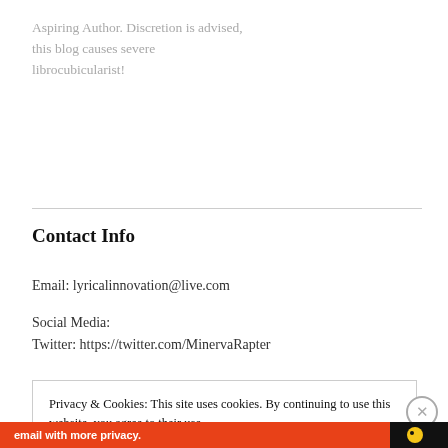Aspiring Author. Discretion is advised, this blog causes severe librocubicularist!
Contact Info
Email: lyricalinnovation@live.com
Social Media:
Twitter: https://twitter.com/MinervaRapter
Privacy & Cookies: This site uses cookies. By continuing to use this website, you agree to their use.
To find out more, including how to control cookies, see here: Cookie Policy
Close and accept
[Figure (other): Orange/red advertisement banner at bottom with 'email with more privacy.' text and a duck logo icon on black background on the right]